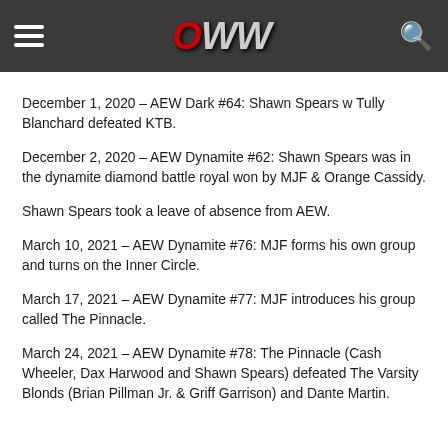OWW — Online World of Wrestling
December 1, 2020 – AEW Dark #64: Shawn Spears w Tully Blanchard defeated KTB.
December 2, 2020 – AEW Dynamite #62: Shawn Spears was in the dynamite diamond battle royal won by MJF & Orange Cassidy.
Shawn Spears took a leave of absence from AEW.
March 10, 2021 – AEW Dynamite #76: MJF forms his own group and turns on the Inner Circle.
March 17, 2021 – AEW Dynamite #77: MJF introduces his group called The Pinnacle.
March 24, 2021 – AEW Dynamite #78: The Pinnacle (Cash Wheeler, Dax Harwood and Shawn Spears) defeated The Varsity Blonds (Brian Pillman Jr. & Griff Garrison) and Dante Martin.